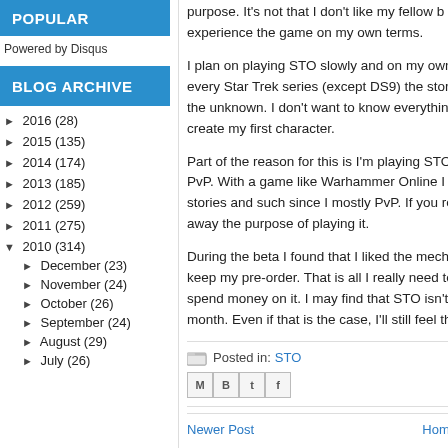POPULAR
Powered by Disqus
BLOG ARCHIVE
► 2016 (28)
► 2015 (135)
► 2014 (174)
► 2013 (185)
► 2012 (259)
► 2011 (275)
▼ 2010 (314)
► December (23)
► November (24)
► October (26)
► September (24)
► August (29)
► July (26)
purpose.  It's not that I don't like my fellow bl… experience the game on my own terms.
I plan on playing STO slowly and on my own… every Star Trek series (except DS9) the stori… the unknown.  I don't want to know everything… create my first character.
Part of the reason for this is I'm playing STO … PvP.  With a game like Warhammer Online I … stories and such since I mostly PvP.  If you re… away the purpose of playing it.
During the beta I found that I liked the mecha… keep my pre-order.  That is all I really need to… spend money on it.  I may find that STO isn't… month.  Even if that is the case, I'll still feel th…
Posted in: STO
Share icons: M, B, t, f
Newer Post | Home